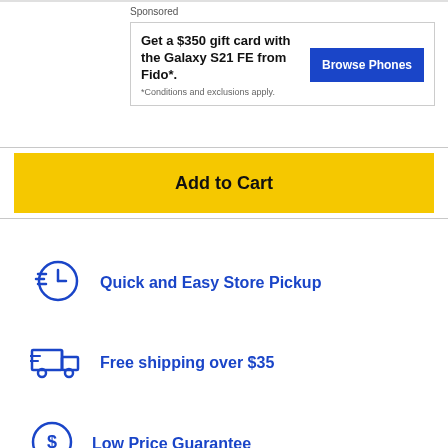Sponsored
Get a $350 gift card with the Galaxy S21 FE from Fido*. *Conditions and exclusions apply.
Browse Phones
Add to Cart
Quick and Easy Store Pickup
Free shipping over $35
Low Price Guarantee